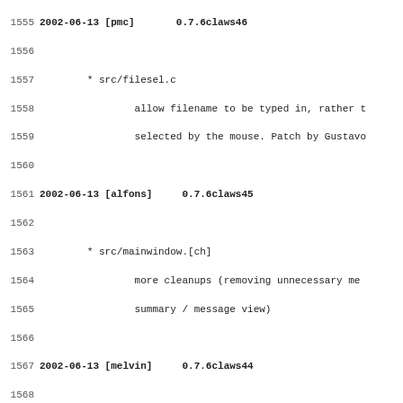Code/changelog listing lines 1555-1587 showing version history entries for 2002-06-13 [alfons] 0.7.6claws45, 2002-06-13 [melvin] 0.7.6claws44, and 2002-06-13 [melvin] 0.7.6claws43